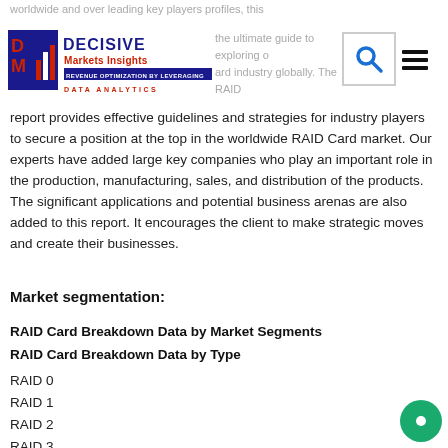worldwide and over leading key players profiles, this
[Figure (logo): Decisive Markets Insights logo with DM emblem, blue and red text]
the ultimate guide to exploring of ii ard industry globally. The RAID a report provides effective guidelines and strategies for industry players to secure a position at the top in the worldwide RAID Card market. Our experts have added large key companies who play an important role in the production, manufacturing, sales, and distribution of the products. The significant applications and potential business arenas are also added to this report. It encourages the client to make strategic moves and create their businesses.
Market segmentation:
RAID Card Breakdown Data by Market Segments
RAID Card Breakdown Data by Type
RAID 0
RAID 1
RAID 2
RAID 3